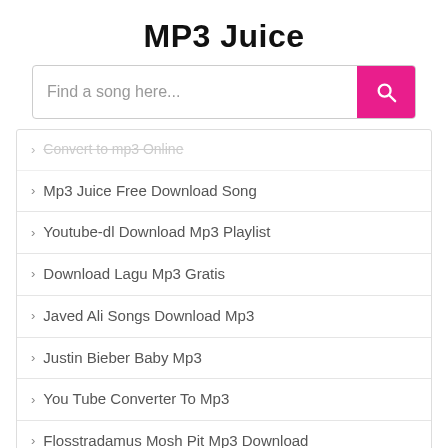MP3 Juice
Find a song here...
› Convert to mp3 Online
› Mp3 Juice Free Download Song
› Youtube-dl Download Mp3 Playlist
› Download Lagu Mp3 Gratis
› Javed Ali Songs Download Mp3
› Justin Bieber Baby Mp3
› You Tube Converter To Mp3
› Flosstradamus Mosh Pit Mp3 Download
› Eagles Tequila Sunrise Mp3 Download
› Give Me Everything Tonight Mp3 Song Download
› Dil Se Mp3 Songs Free Download 320kbps
› ...